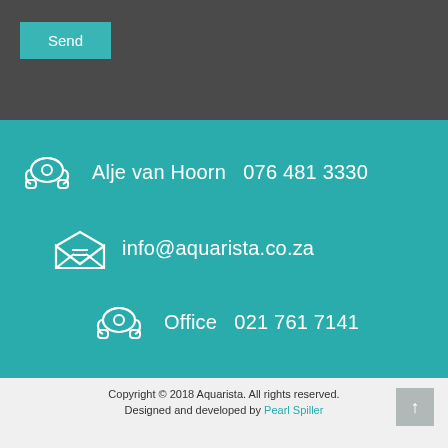Send
Alje van Hoorn  076 481 3330
info@aquarista.co.za
Office  021 761 7141
Copyright © 2018 Aquarista. All rights reserved.
Designed and developed by Pearl Spiller